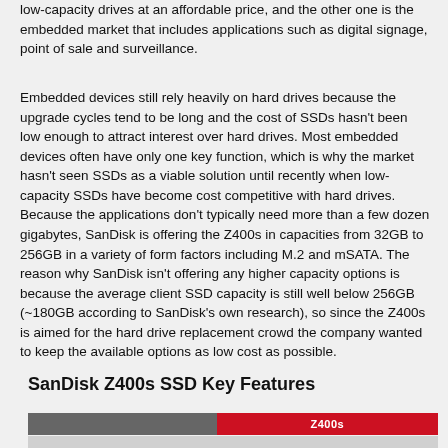low-capacity drives at an affordable price, and the other one is the embedded market that includes applications such as digital signage, point of sale and surveillance.
Embedded devices still rely heavily on hard drives because the upgrade cycles tend to be long and the cost of SSDs hasn't been low enough to attract interest over hard drives. Most embedded devices often have only one key function, which is why the market hasn't seen SSDs as a viable solution until recently when low-capacity SSDs have become cost competitive with hard drives. Because the applications don't typically need more than a few dozen gigabytes, SanDisk is offering the Z400s in capacities from 32GB to 256GB in a variety of form factors including M.2 and mSATA. The reason why SanDisk isn't offering any higher capacity options is because the average client SSD capacity is still well below 256GB (~180GB according to SanDisk's own research), so since the Z400s is aimed for the hard drive replacement crowd the company wanted to keep the available options as low cost as possible.
SanDisk Z400s SSD Key Features
|  | Z400s |
| --- | --- |
|  |  |